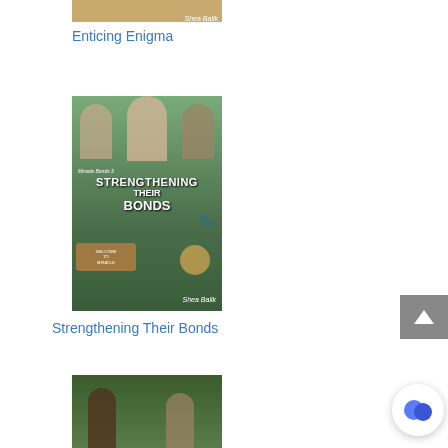[Figure (illustration): Book cover for 'Enticing Enigma' by Shea Balik - partially visible at top]
Enticing Enigma
[Figure (illustration): Book cover for 'Strengthening Their Bonds' by Shea Balik - Miracle Bonds 3, showing three shirtless tattooed men, a wolf, a lion cub, and a Welcome to Miracle sign]
Strengthening Their Bonds
[Figure (illustration): Book cover partially visible at bottom, showing two men in a forest setting]